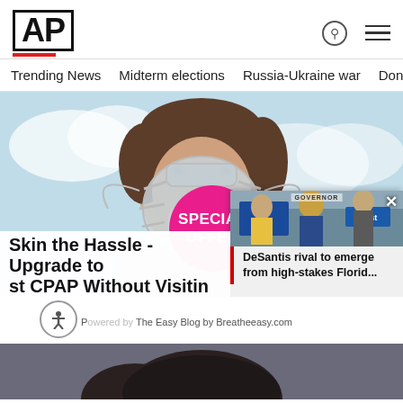AP
Trending News  Midterm elections  Russia-Ukraine war  Dona
[Figure (photo): Woman wearing a full-face CPAP mask against a light blue sky background, with a pink 'SPECIAL OFFER' badge overlay]
Skin the Hassle - Upgrade to [a] st CPAP Without Visitin[g]
P[owered by] The Easy Blog by Breatheeasy.com
[Figure (photo): DeSantis rival news popup showing a man in a suit at a campaign event with 'Crist' signage]
DeSantis rival to emerge from high-stakes Florid...
[Figure (photo): Second story image - top of person's head with dark hair]